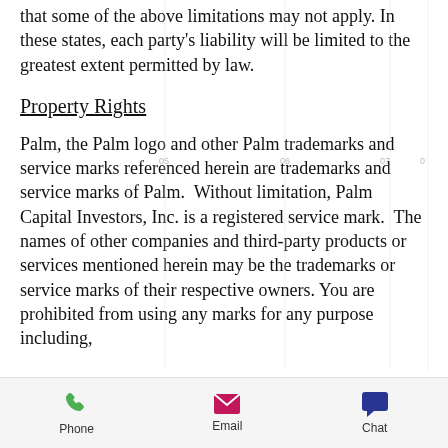that some of the above limitations may not apply. In these states, each party's liability will be limited to the greatest extent permitted by law.
Property Rights
Palm, the Palm logo and other Palm trademarks and service marks referenced herein are trademarks and service marks of Palm.  Without limitation, Palm Capital Investors, Inc. is a registered service mark.  The names of other companies and third-party products or services mentioned herein may be the trademarks or service marks of their respective owners. You are prohibited from using any marks for any purpose including,
Phone   Email   Chat